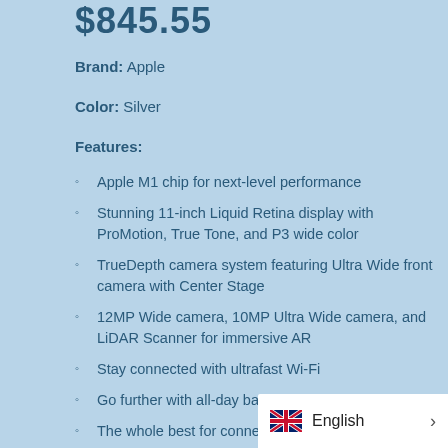$845.55
Brand: Apple
Color: Silver
Features:
Apple M1 chip for next-level performance
Stunning 11-inch Liquid Retina display with ProMotion, True Tone, and P3 wide color
TrueDepth camera system featuring Ultra Wide front camera with Center Stage
12MP Wide camera, 10MP Ultra Wide camera, and LiDAR Scanner for immersive AR
Stay connected with ultrafast Wi-Fi
Go further with all-day ba...
The whole best for connection f...